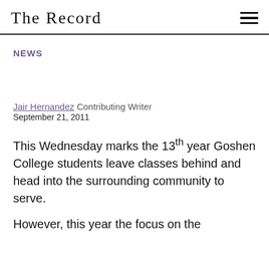The Record
NEWS
Jair Hernandez Contributing Writer
September 21, 2011
This Wednesday marks the 13th year Goshen College students leave classes behind and head into the surrounding community to serve.
However, this year the focus on the